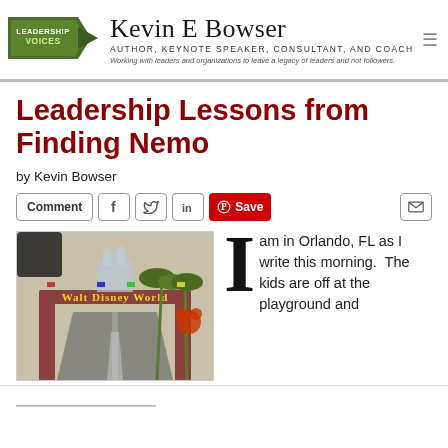Kevin E Bowser — Author, Keynote Speaker, Consultant, and Coach. Working with leaders and organizations to leave a legacy of leaders and not followers.
Leadership Lessons from Finding Nemo
by Kevin Bowser
[Figure (screenshot): Social sharing bar with Comment button, Facebook, Twitter, LinkedIn icons, Pinterest Save button, and email icon]
[Figure (photo): Photo taken from inside a car driving toward the Walt Disney World entrance arch, with palm trees and the castle visible in background]
I am in Orlando, FL as I write this morning.  The kids are off at the playground and